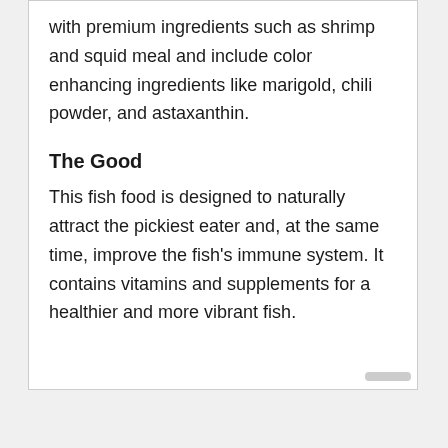with premium ingredients such as shrimp and squid meal and include color enhancing ingredients like marigold, chili powder, and astaxanthin.
The Good
This fish food is designed to naturally attract the pickiest eater and, at the same time, improve the fish's immune system. It contains vitamins and supplements for a healthier and more vibrant fish.